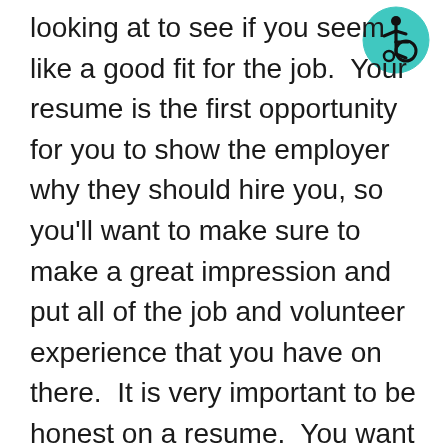[Figure (illustration): Accessibility icon — person in wheelchair inside a teal/cyan circle]
looking at to see if you seem like a good fit for the job.  Your resume is the first opportunity for you to show the employer why they should hire you, so you'll want to make sure to make a great impression and put all of the job and volunteer experience that you have on there.  It is very important to be honest on a resume.  You want to highlight all of the great experience that you have but must not make things up.